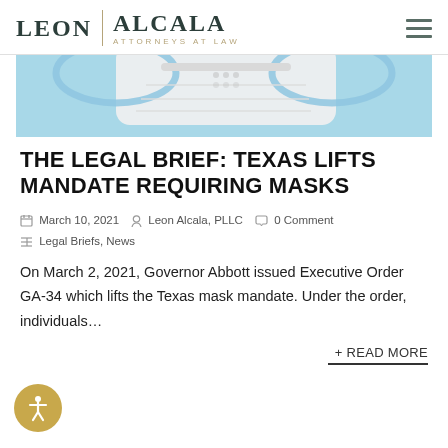LEON | ALCALA ATTORNEYS AT LAW
[Figure (photo): Partial view of a light blue surgical face mask on a light blue background]
THE LEGAL BRIEF: TEXAS LIFTS MANDATE REQUIRING MASKS
March 10, 2021  Leon Alcala, PLLC  0 Comment  Legal Briefs, News
On March 2, 2021, Governor Abbott issued Executive Order GA-34 which lifts the Texas mask mandate. Under the order, individuals…
+ READ MORE